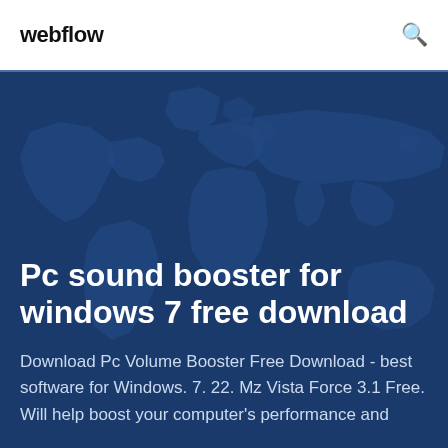webflow
[Figure (illustration): World map silhouette on dark blue background used as hero section backdrop]
Pc sound booster for windows 7 free download
Download Pc Volume Booster Free Download - best software for Windows. 7. 22. Mz Vista Force 3.1 Free. Will help boost your computer's performance and